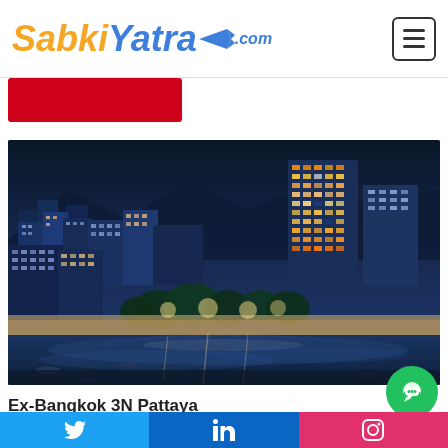SabkiYatra.com
[Figure (photo): Aerial night view of Pattaya city skyline and beach with blue-tinted lighting, tall skyscrapers, hotels along the coast, and boats on the water]
Ex-Bangkok 3N Pattaya
Luxurious Pattaya
Twitter | LinkedIn | Instagram social media links